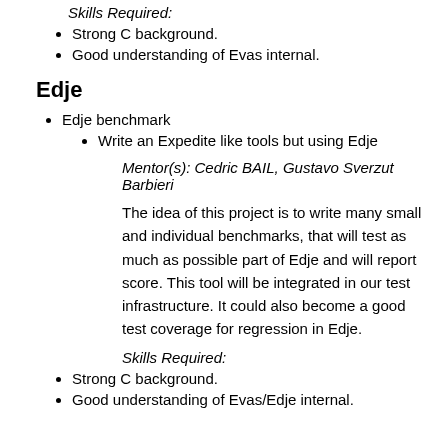Skills Required:
Strong C background.
Good understanding of Evas internal.
Edje
Edje benchmark
Write an Expedite like tools but using Edje
Mentor(s): Cedric BAIL, Gustavo Sverzut Barbieri
The idea of this project is to write many small and individual benchmarks, that will test as much as possible part of Edje and will report score. This tool will be integrated in our test infrastructure. It could also become a good test coverage for regression in Edje.
Skills Required:
Strong C background.
Good understanding of Evas/Edje internal.